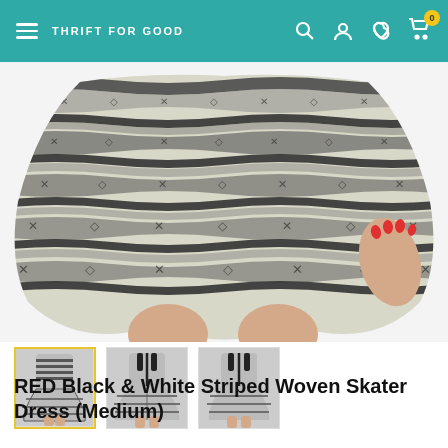THRIFT FOR GOOD
[Figure (photo): Close-up photo of lower half of a striped woven skater dress being worn, showing the flared skirt with black and white woven pattern. A hand with red nails is seen lifting the hem slightly. Person's legs visible below.]
[Figure (photo): Thumbnail 1 (active/selected with yellow border): Full-body front view of the black and white striped woven skater dress on a model.]
[Figure (photo): Thumbnail 2: Back view of the same dress showing a black zipper detail down the back.]
[Figure (photo): Thumbnail 3: Another back/side view of the dress on the model.]
RED Black & White Striped Woven Skater Dress (Medium)